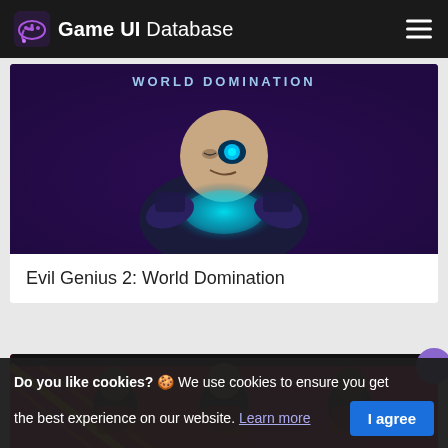Game UI Database
[Figure (screenshot): Evil Genius 2: World Domination game art showing a bald villain character with glowing teal energy, text 'WORLD DOMINATION' at top, purple background]
Evil Genius 2: World Domination
[Figure (screenshot): FIFA game promotional image showing three soccer players on a pink/red background with yellow diagonal stripe graphic element]
Do you like cookies? 🍪 We use cookies to ensure you get the best experience on our website. Learn more  I agree